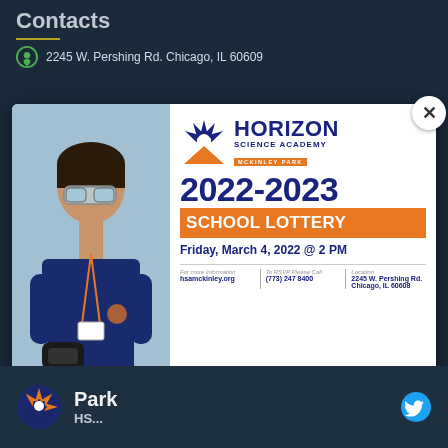Contacts
2245 W. Pershing Rd. Chicago, IL 60609
[Figure (infographic): Horizon Science Academy McKinley Park 2022-2023 School Lottery announcement flyer. Shows a student in safety goggles holding a device on the left, and on the right: HORIZON SCIENCE ACADEMY logo, 2022-2023 SCHOOL LOTTERY, Friday, March 4, 2022 @ 2 PM, with contact info: hsamckinley.org, (773) 247 8400, 2245 W. Pershing Rd. Chicago, IL 60608]
Park
HS...